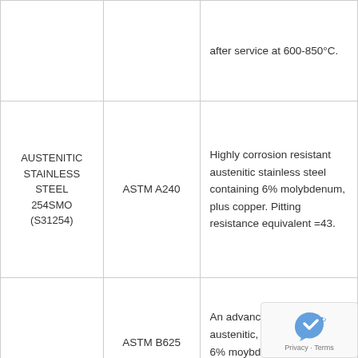| Material | Standard | Description |
| --- | --- | --- |
|  |  | after service at 600-850°C. |
| AUSTENITIC STAINLESS STEEL 254SMO (S31254) | ASTM A240 | Highly corrosion resistant austenitic stainless steel containing 6% molybdenum, plus copper. Pitting resistance equivalent =43. |
|  | ASTM B625 | An advanced super-austenitic, high-chromium 6% moybdenum corrosion resisting alloy. Bridges the |